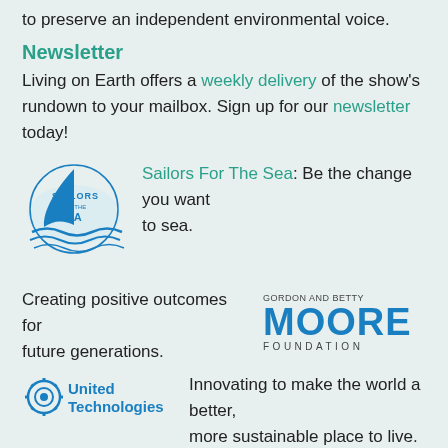to preserve an independent environmental voice.
Newsletter
Living on Earth offers a weekly delivery of the show's rundown to your mailbox. Sign up for our newsletter today!
Sailors For The Sea: Be the change you want to sea.
Creating positive outcomes for future generations.
[Figure (logo): Gordon and Betty Moore Foundation logo]
[Figure (logo): United Technologies logo]
Innovating to make the world a better, more sustainable place to live. Listen to the race to 9 billion
The Grantham Foundation for the Protection of the Environment:
[Figure (logo): The Grantham Foundation for the Protection of the Environment logo]